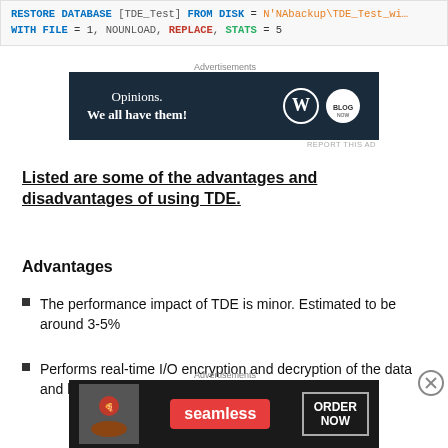RESTORE DATABASE [TDE_Test] FROM DISK = N'NAbackup\TDE_Test_wi... WITH FILE = 1, NOUNLOAD, REPLACE, STATS = 5
[Figure (screenshot): Advertisement banner: Opinions. We all have them! with WordPress and another logo on dark navy background]
Listed are some of the advantages and disadvantages of using TDE.
Advantages
The performance impact of TDE is minor. Estimated to be around 3-5%
Performs real-time I/O encryption and decryption of the data and log files
[Figure (screenshot): Advertisement banner for Seamless food delivery: pizza image on left, Seamless logo in red, ORDER NOW button on right, dark background]